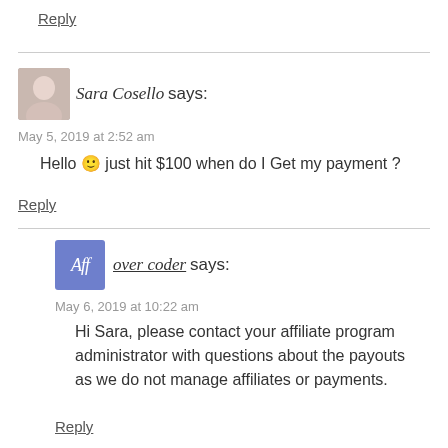Reply
Sara Cosello says:
May 5, 2019 at 2:52 am
Hello 🙂 just hit $100 when do I Get my payment ?
Reply
over coder says:
May 6, 2019 at 10:22 am
Hi Sara, please contact your affiliate program administrator with questions about the payouts as we do not manage affiliates or payments.
Reply